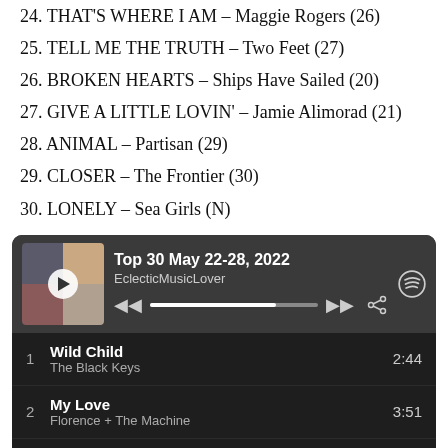24. THAT'S WHERE I AM – Maggie Rogers (26)
25. TELL ME THE TRUTH – Two Feet (27)
26. BROKEN HEARTS – Ships Have Sailed (20)
27. GIVE A LITTLE LOVIN' – Jamie Alimorad (21)
28. ANIMAL – Partisan (29)
29. CLOSER – The Frontier (30)
30. LONELY – Sea Girls (N)
[Figure (screenshot): Spotify playlist widget showing 'Top 30 May 22-28, 2022' by EclecticMusicLover with tracks: 1. Wild Child – The Black Keys 2:44, 2. My Love – Florence + The Machine 3:51, 3. As It Was – Harry Styles 2:47, 4. Sleep (partial)]